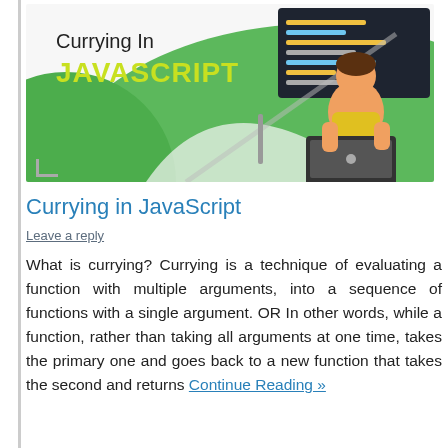[Figure (illustration): Hero banner illustration for 'Currying In JAVASCRIPT' article. Green background with white curves, a person sitting and working on a laptop, and a dark code editor panel in the top right corner. Text 'Currying In JAVASCRIPT' overlaid in white and green-yellow.]
Currying in JavaScript
Leave a reply
What is currying? Currying is a technique of evaluating a function with multiple arguments, into a sequence of functions with a single argument. OR In other words, while a function, rather than taking all arguments at one time, takes the primary one and goes back to a new function that takes the second and returns Continue Reading »